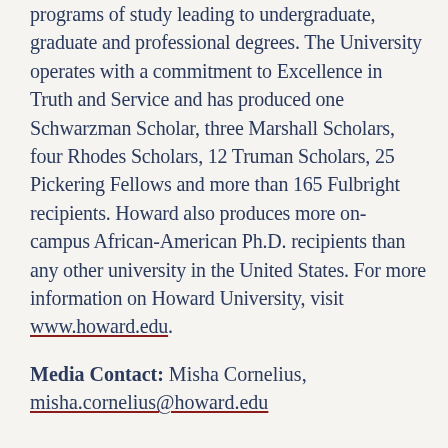programs of study leading to undergraduate, graduate and professional degrees. The University operates with a commitment to Excellence in Truth and Service and has produced one Schwarzman Scholar, three Marshall Scholars, four Rhodes Scholars, 12 Truman Scholars, 25 Pickering Fellows and more than 165 Fulbright recipients. Howard also produces more on-campus African-American Ph.D. recipients than any other university in the United States. For more information on Howard University, visit www.howard.edu.
Media Contact: Misha Cornelius, misha.cornelius@howard.edu